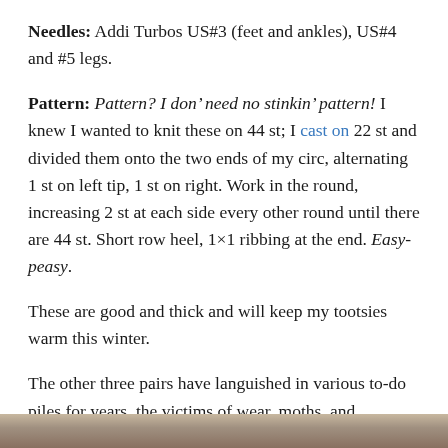Needles: Addi Turbos US#3 (feet and ankles), US#4 and #5 legs.
Pattern: Pattern? I don’ need no stinkin’ pattern! I knew I wanted to knit these on 44 st; I cast on 22 st and divided them onto the two ends of my circ, alternating 1 st on left tip, 1 st on right. Work in the round, increasing 2 st at each side every other round until there are 44 st. Short row heel, 1×1 ribbing at the end. Easy-peasy.
These are good and thick and will keep my tootsies warm this winter.
The other three pairs have languished in various to-do piles for years, the victims of wear, moths, and procrastination. This new year has prompted a small bout of finish-itis, that wonderful condition that comes far too seldom.
[Figure (photo): Partial view of a photograph at the bottom of the page, showing what appears to be socks or knitted items.]